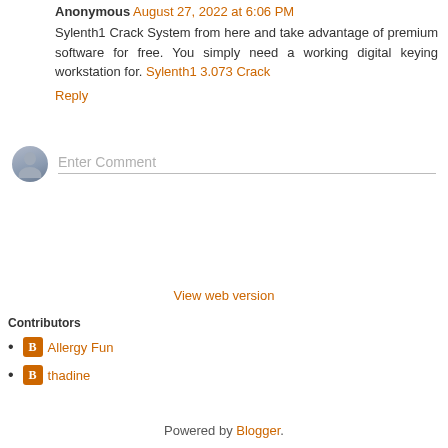Anonymous August 27, 2022 at 6:06 PM
Sylenth1 Crack System from here and take advantage of premium software for free. You simply need a working digital keying workstation for. Sylenth1 3.073 Crack
Reply
[Figure (other): Comment input area with avatar icon and 'Enter Comment' placeholder text field]
[Figure (other): Navigation buttons: left arrow, Home, right arrow]
View web version
Contributors
Allergy Fun
thadine
Powered by Blogger.